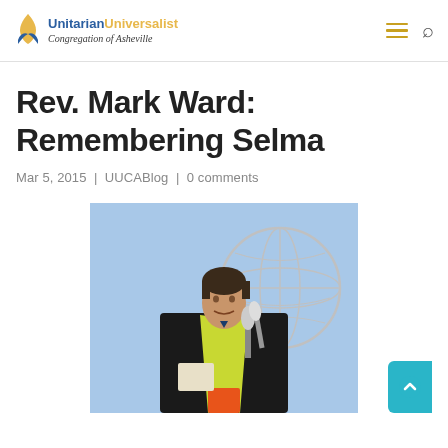Unitarian Universalist Congregation of Asheville
Rev. Mark Ward: Remembering Selma
Mar 5, 2015 | UUCABlog | 0 comments
[Figure (photo): Rev. Mark Ward speaking outdoors at a microphone, wearing black robes with a yellow-green stole, with a large metal globe sculpture visible in the background against a blue sky.]